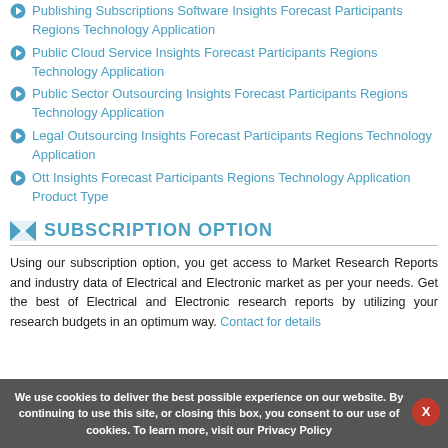Publishing Subscriptions Software Insights Forecast Participants Regions Technology Application
Public Cloud Service Insights Forecast Participants Regions Technology Application
Public Sector Outsourcing Insights Forecast Participants Regions Technology Application
Legal Outsourcing Insights Forecast Participants Regions Technology Application
Ott Insights Forecast Participants Regions Technology Application Product Type
SUBSCRIPTION OPTION
Using our subscription option, you get access to Market Research Reports and industry data of Electrical and Electronic market as per your needs. Get the best of Electrical and Electronic research reports by utilizing your research budgets in an optimum way. Contact for details
We use cookies to deliver the best possible experience on our website. By continuing to use this site, or closing this box, you consent to our use of cookies. To learn more, visit our Privacy Policy